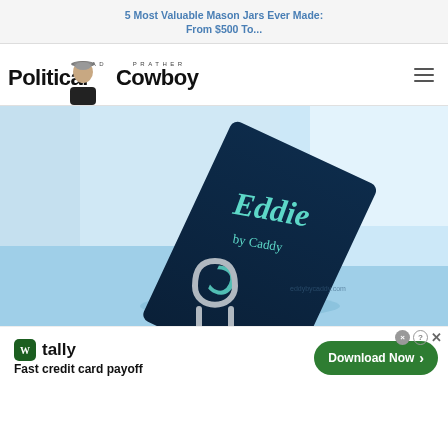5 Most Valuable Mason Jars Ever Made: From $500 To...
[Figure (logo): Chad Prather Political Cowboy logo with photo of man in cowboy hat]
[Figure (photo): Product photo of a blue 'Eddie by Caddy' card holder/organizer with horseshoe accessory on blue background]
[Figure (infographic): Tally app advertisement: 'Fast credit card payoff' with Download Now button]